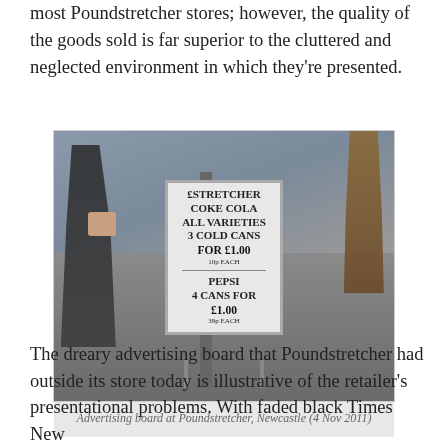most Poundstretcher stores; however, the quality of the goods sold is far superior to the cluttered and neglected environment in which they're presented.
[Figure (photo): Photograph of an advertising sandwich board on a wet pavement outside Poundstretcher, Newcastle. The board displays: COKE COLA ALL VARIETIES 3 COLD CANS FOR £1.00 10p EACH; PEPSI 4 CANS FOR £1.00 39p EACH. Pedestrians visible in background.]
Advertising board at Poundstretcher, Newcastle (4 Nov 2011)
The dreary advertising board that Poundstretcher had outside its store today is illustrative of the retailer's presentational problems. With faded black Times New